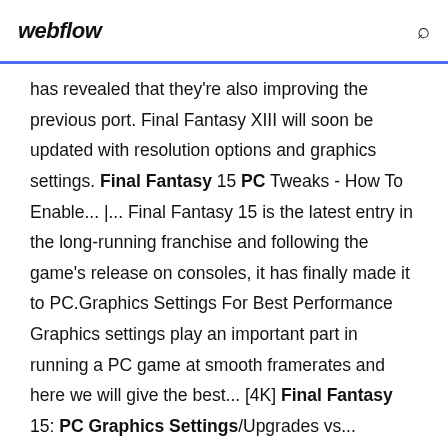webflow
has revealed that they're also improving the previous port. Final Fantasy XIII will soon be updated with resolution options and graphics settings. Final Fantasy 15 PC Tweaks - How To Enable... |... Final Fantasy 15 is the latest entry in the long-running franchise and following the game's release on consoles, it has finally made it to PC.Graphics Settings For Best Performance Graphics settings play an important part in running a PC game at smooth framerates and here we will give the best... [4K] Final Fantasy 15: PC Graphics Settings/Upgrades vs...